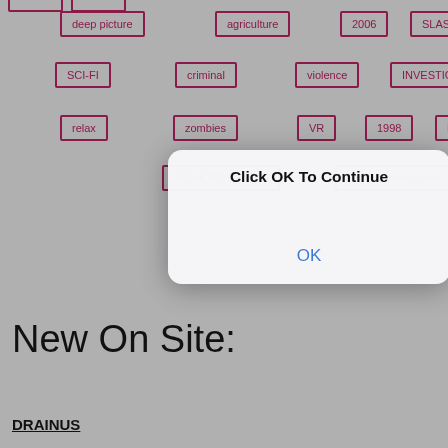deep picture
agriculture
2006
SLASHER
SCI-FI
criminal
violence
INVESTIGATION
relax
zombies
VR
1998
PUZZLE
WEAK PC GAMES
woman protagonist
[Figure (screenshot): Modal dialog with text 'Click OK To Continue' and an OK button]
New On Site:
DRAINUS